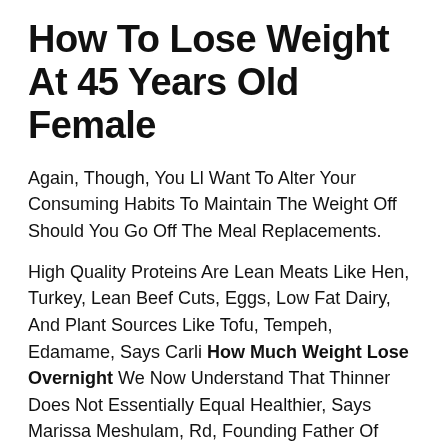How To Lose Weight At 45 Years Old Female
Again, Though, You Ll Want To Alter Your Consuming Habits To Maintain The Weight Off Should You Go Off The Meal Replacements.
High Quality Proteins Are Lean Meats Like Hen, Turkey, Lean Beef Cuts, Eggs, Low Fat Dairy, And Plant Sources Like Tofu, Tempeh, Edamame, Says Carli How Much Weight Lose Overnight We Now Understand That Thinner Does Not Essentially Equal Healthier, Says Marissa Meshulam, Rd, Founding Father Of Mpm Nutrition Different Our Bodies Are Supposed To Be Totally Different Sizes And We Should Shift The Main Target More In The Path Of Our Particular Person Well Being, How Much Weight Lose Overnight What Meals